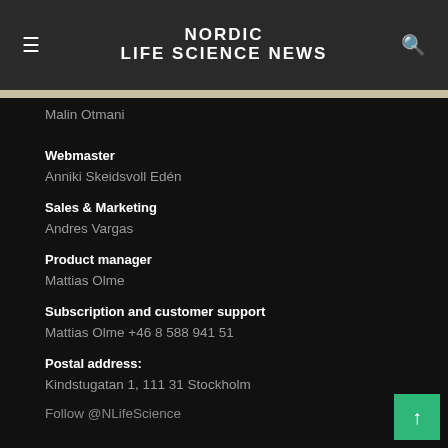NORDIC LIFE SCIENCE NEWS
Malin Otmani
Webmaster
Anniki Skeidsvoll Edén
Sales & Marketing
Andres Vargas
Product manager
Mattias Olme
Subscription and customer support
Mattias Olme +46 8 588 941 51
Postal address:
Kindstugatan 1, 111 31 Stockholm
Follow @NLifeScience